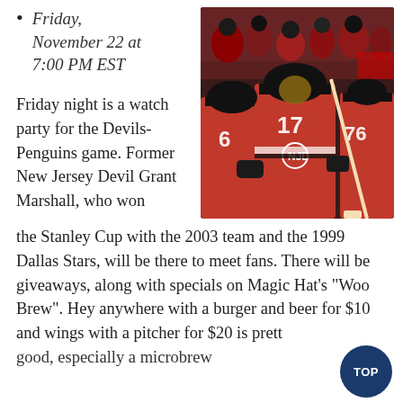Friday, November 22 at 7:00 PM EST
[Figure (photo): New Jersey Devils hockey players in red jerseys celebrating on the ice, numbers 6, 17, and 76 visible, crowded arena in background]
Friday night is a watch party for the Devils-Penguins game. Former New Jersey Devil Grant Marshall, who won the Stanley Cup with the 2003 team and the 1999 Dallas Stars, will be there to meet fans. There will be giveaways, along with specials on Magic Hat’s “Woo Brew”. Hey anywhere with a burger and beer for $10 and wings with a pitcher for $20 is pretty good, especially a microbrew